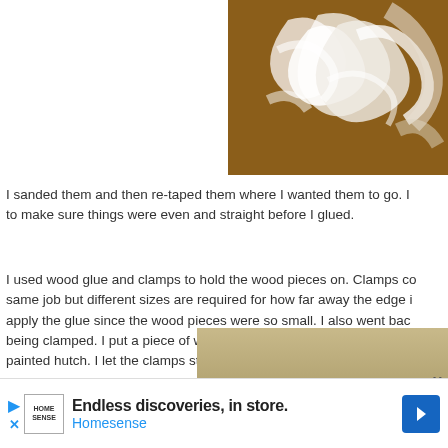[Figure (photo): Close-up photo of white plaster or glue swirled on a brown wooden surface]
I sanded them and then re-taped them where I wanted them to go. I to make sure things were even and straight before I glued.
I used wood glue and clamps to hold the wood pieces on. Clamps co same job but different sizes are required for how far away the edge i apply the glue since the wood pieces were so small. I also went bac being clamped. I put a piece of wood in between the clamp and hutc painted hutch. I let the clamps stay on overnight to ensure secure gl
[Figure (photo): Partial view of a tan/beige surface, partially cropped advertisement overlay]
Endless discoveries, in store.
Homesense